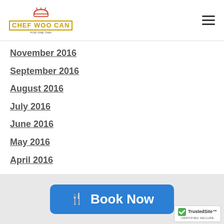Chef Woo Can
November 2016
September 2016
August 2016
July 2016
June 2016
May 2016
April 2016
March 2016
February 2016
Categories
All
RSS Feed
Book Now